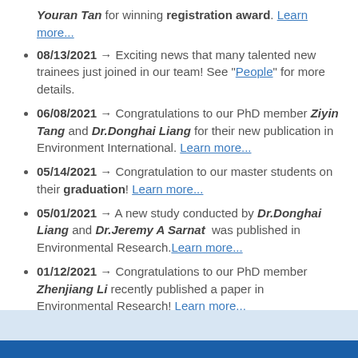Youran Tan for winning registration award. Learn more...
08/13/2021 → Exciting news that many talented new trainees just joined in our team! See "People" for more details.
06/08/2021 → Congratulations to our PhD member Ziyin Tang and Dr.Donghai Liang for their new publication in Environment International. Learn more...
05/14/2021 → Congratulation to our master students on their graduation! Learn more...
05/01/2021 → A new study conducted by Dr.Donghai Liang and Dr.Jeremy A Sarnat was published in Environmental Research. Learn more...
01/12/2021 → Congratulations to our PhD member Zhenjiang Li recently published a paper in Environmental Research! Learn more...